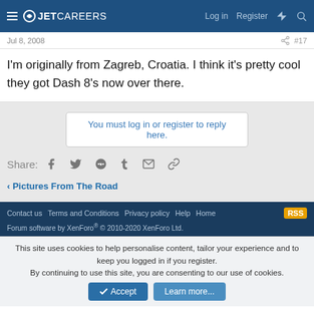JETCAREERS | Log in | Register
Jul 8, 2008 #17
I'm originally from Zagreb, Croatia. I think it's pretty cool they got Dash 8's now over there.
You must log in or register to reply here.
Share:
< Pictures From The Road
Contact us | Terms and Conditions | Privacy policy | Help | Home | Forum software by XenForo® © 2010-2020 XenForo Ltd.
This site uses cookies to help personalise content, tailor your experience and to keep you logged in if you register. By continuing to use this site, you are consenting to our use of cookies.
Accept | Learn more...